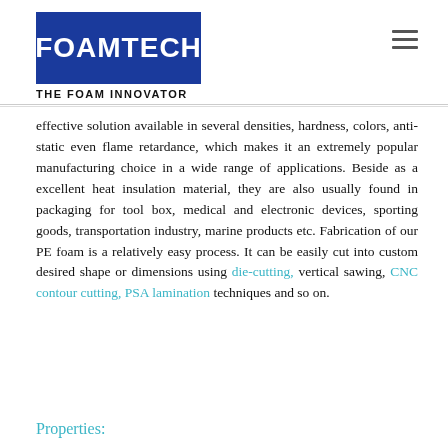FOAMTECH THE FOAM INNOVATOR
effective solution available in several densities, hardness, colors, anti-static even flame retardance, which makes it an extremely popular manufacturing choice in a wide range of applications. Beside as a excellent heat insulation material, they are also usually found in packaging for tool box, medical and electronic devices, sporting goods, transportation industry, marine products etc. Fabrication of our PE foam is a relatively easy process. It can be easily cut into custom desired shape or dimensions using die-cutting, vertical sawing, CNC contour cutting, PSA lamination techniques and so on.
Properties: